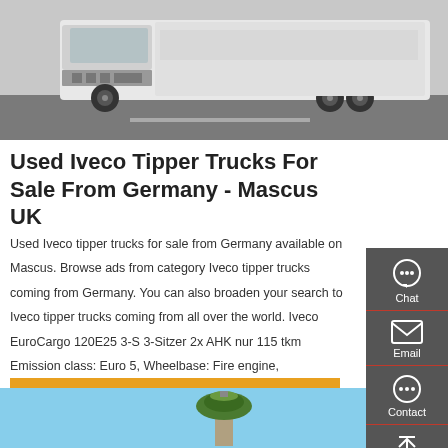[Figure (photo): White Iveco truck photographed in a parking lot, front/side view, on grey asphalt.]
Used Iveco Tipper Trucks For Sale From Germany - Mascus UK
Used Iveco tipper trucks for sale from Germany available on Mascus. Browse ads from category Iveco tipper trucks coming from Germany. You can also broaden your search to Iveco tipper trucks coming from all over the world. Iveco EuroCargo 120E25 3-S 3-Sitzer 2x AHK nur 115 tkm Emission class: Euro 5, Wheelbase: Fire engine, Suspension type:
[Figure (other): Orange Get a Quote button]
[Figure (other): Bottom image showing a green tree-like object against a light blue sky background.]